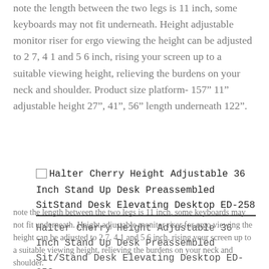note the length between the two legs is 11 inch, some keyboards may not fit underneath. Height adjustable monitor riser for ergo viewing the height can be adjusted to 2 7, 4 1 and 5 6 inch, rising your screen up to a suitable viewing height, relieving the burdens on your neck and shoulder. Product size platform- 157" 11" adjustable height 27", 41", 56" length underneath 122".
[Figure (other): Broken image placeholder for Halter Cherry Height Adjustable 36 Inch Stand Up Desk Preassembled SitStand Desk Elevating Desktop ED-258]
Halter Cherry Height Adjustable 36 Inch Stand Up Desk Preassembled SitStand Desk Elevating Desktop ED-258
Halter Cherry Height Adjustable 36 Inch Stand Up Desk Preassembled Sit/Stand Desk Elevating Desktop ED-258
note the length between the two legs is 11 inch, some keyboards may not fit underneath. Height adjustable monitor riser for ergo viewing the height can be adjusted to 2 7, 4 1 and 5 6 inch, rising your screen up to a suitable viewing height, relieving the burdens on your neck and shoulder.